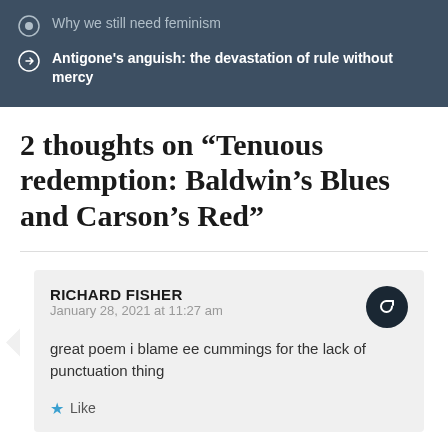Why we still need feminism
Antigone's anguish: the devastation of rule without mercy
2 thoughts on “Tenuous redemption: Baldwin’s Blues and Carson’s Red”
RICHARD FISHER
January 28, 2021 at 11:27 am
great poem i blame ee cummings for the lack of punctuation thing
Like